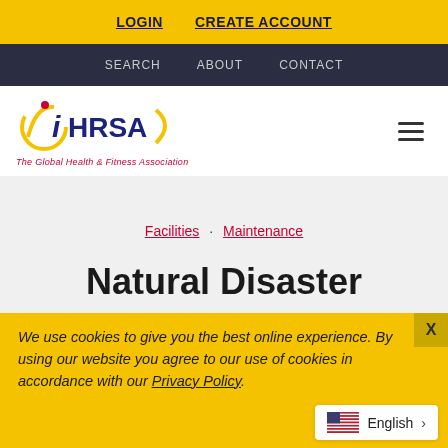LOGIN   CREATE ACCOUNT
SEARCH   ABOUT   CONTACT
[Figure (logo): IHRSA logo with tagline 'The Global Health & Fitness Association']
Facilities · Maintenance
Natural Disaster
We use cookies to give you the best online experience. By using our website you agree to our use of cookies in accordance with our Privacy Policy.
English